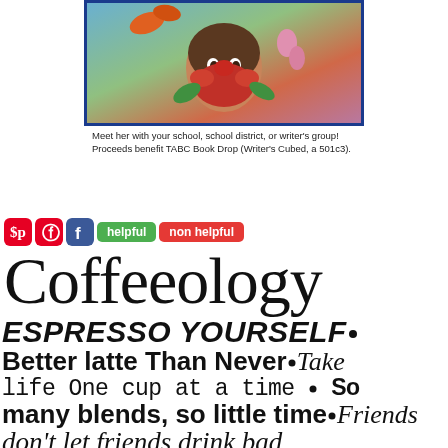[Figure (illustration): Illustrated cartoon girl covering face with red flower, colorful garden background, inside blue border advertisement frame]
Meet her with your school, school district, or writer's group! Proceeds benefit TABC Book Drop (Writer's Cubed, a 501c3).
[Figure (infographic): Pinterest and Facebook social share icons, green helpful button, red non helpful button]
Coffeeology
ESPRESSO YOURSELF • Better latte Than Never • Take life One cup at a time • So many blends, so little time • Friends don't let friends drink bad coffee • Take time to smell the coffee • Deja Brew: